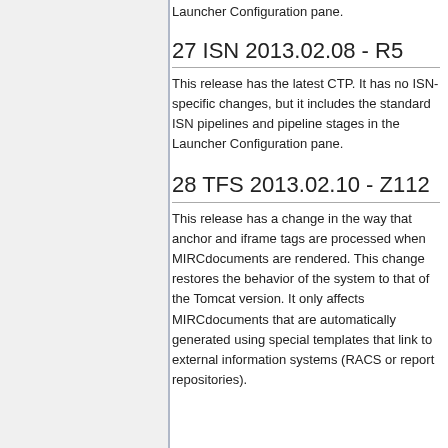Launcher Configuration pane.
27 ISN 2013.02.08 - R5
This release has the latest CTP. It has no ISN-specific changes, but it includes the standard ISN pipelines and pipeline stages in the Launcher Configuration pane.
28 TFS 2013.02.10 - Z112
This release has a change in the way that anchor and iframe tags are processed when MIRCdocuments are rendered. This change restores the behavior of the system to that of the Tomcat version. It only affects MIRCdocuments that are automatically generated using special templates that link to external information systems (RACS or report repositories).